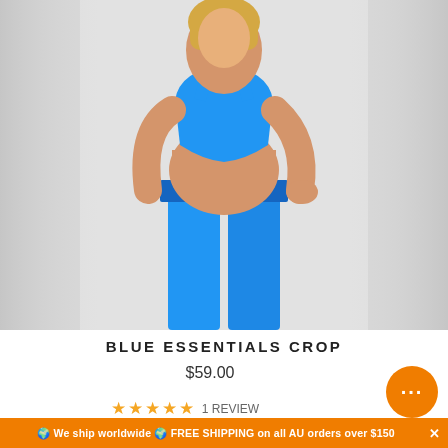[Figure (photo): A female model wearing a bright blue sports bra crop top and matching blue high-waisted leggings, posed against a light grey background. The outfit is the Blue Essentials Crop product.]
BLUE ESSENTIALS CROP
$59.00
★★★★★ 1 REVIEW
🌍 We ship worldwide 🌍 FREE SHIPPING on all AU orders over $150 ✕